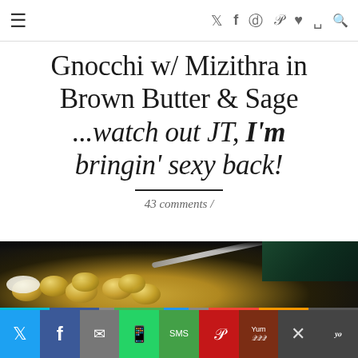≡   [social icons: twitter, facebook, instagram, pinterest, heart, rss, search]
Gnocchi w/ Mizithra in Brown Butter & Sage ...watch out JT, I'm bringin' sexy back!
43 comments /
[Figure (photo): Close-up photo of gnocchi with mizithra cheese in a dark pan with a metal spoon, dark green background visible]
Social share bar with Twitter, Facebook, Email, WhatsApp, SMS, Pinterest, Yummly, Close, More icons